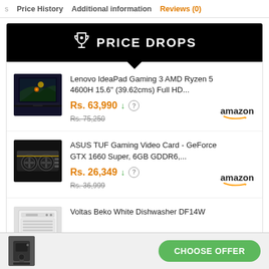s  Price History  Additional information  Reviews (0)
🏆 PRICE DROPS
[Figure (photo): Lenovo IdeaPad Gaming laptop with dark gaming scene on screen]
Lenovo IdeaPad Gaming 3 AMD Ryzen 5 4600H 15.6" (39.62cms) Full HD...
Rs. 63,990 ↓ (?)
Rs. 75,250
[Figure (logo): Amazon logo with smile]
[Figure (photo): ASUS TUF Gaming Video Card GPU with dual fans]
ASUS TUF Gaming Video Card - GeForce GTX 1660 Super, 6GB GDDR6,...
Rs. 26,349 ↓ (?)
Rs. 36,999
[Figure (logo): Amazon logo with smile]
[Figure (photo): Voltas Beko White Dishwasher DF14W]
Voltas Beko White Dishwasher DF14W
[Figure (photo): Small coffee machine product image at bottom]
CHOOSE OFFER